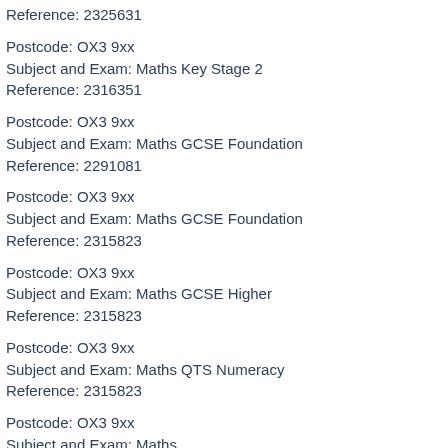Reference: 2325631
Postcode: OX3 9xx
Subject and Exam: Maths Key Stage 2
Reference: 2316351
Postcode: OX3 9xx
Subject and Exam: Maths GCSE Foundation
Reference: 2291081
Postcode: OX3 9xx
Subject and Exam: Maths GCSE Foundation
Reference: 2315823
Postcode: OX3 9xx
Subject and Exam: Maths GCSE Higher
Reference: 2315823
Postcode: OX3 9xx
Subject and Exam: Maths QTS Numeracy
Reference: 2315823
Postcode: OX3 9xx
Subject and Exam: Maths
Reference: 2259776